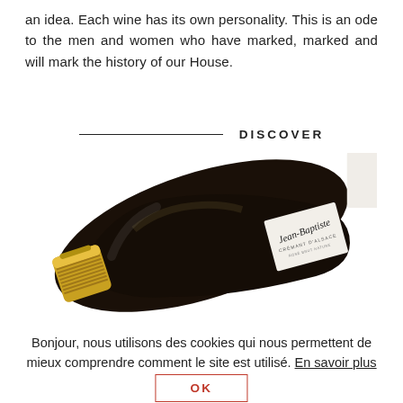an idea. Each wine has its own personality. This is an ode to the men and women who have marked, marked and will mark the history of our House.
DISCOVER
[Figure (photo): A bottle of Crémant d'Alsace sparkling wine with a gold foil cap and a signature label, photographed diagonally on a white background.]
Bonjour, nous utilisons des cookies qui nous permettent de mieux comprendre comment le site est utilisé. En savoir plus
OK